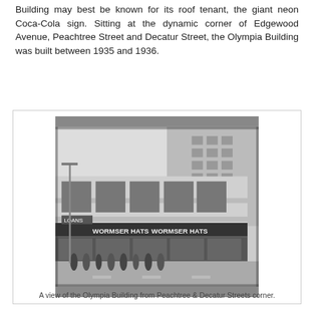Building may best be known for its roof tenant, the giant neon Coca-Cola sign. Sitting at the dynamic corner of Edgewood Avenue, Peachtree Street and Decatur Street, the Olympia Building was built between 1935 and 1936.
[Figure (photo): Black and white photograph of the Olympia Building viewed from the Peachtree and Decatur Streets corner. The building shows Art Deco architecture with storefront signs reading 'WORMSER HATS' and 'LOANS'. Pedestrians are visible on the sidewalk.]
A view of the Olympia Building from Peachtree & Decatur Streets corner.